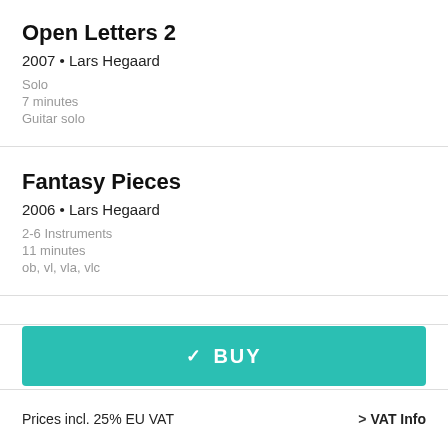Open Letters 2
2007 • Lars Hegaard
Solo
7 minutes
Guitar solo
Fantasy Pieces
2006 • Lars Hegaard
2-6 Instruments
11 minutes
ob, vl, vla, vlc
✓ BUY
Prices incl. 25% EU VAT
> VAT Info